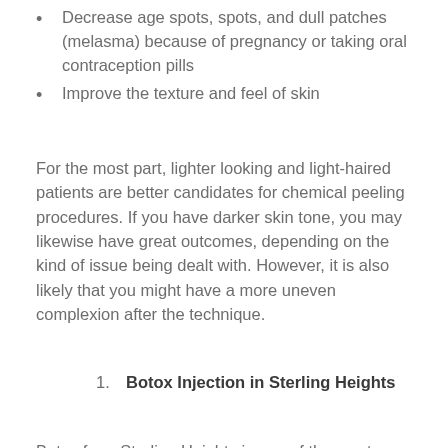Decrease age spots, spots, and dull patches (melasma) because of pregnancy or taking oral contraception pills
Improve the texture and feel of skin
For the most part, lighter looking and light-haired patients are better candidates for chemical peeling procedures. If you have darker skin tone, you may likewise have great outcomes, depending on the kind of issue being dealt with. However, it is also likely that you might have a more uneven complexion after the technique.
Botox Injection in Sterling Heights
Botox from Sterling Heights is one of the most